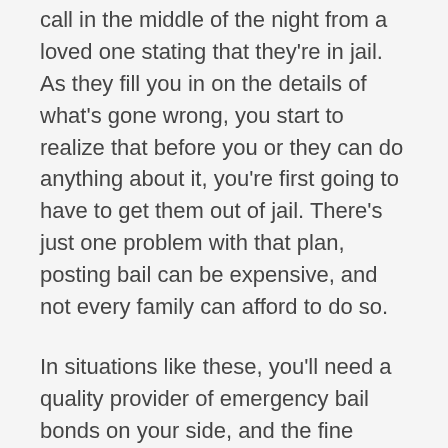call in the middle of the night from a loved one stating that they're in jail. As they fill you in on the details of what's gone wrong, you start to realize that before you or they can do anything about it, you're first going to have to get them out of jail. There's just one problem with that plan, posting bail can be expensive, and not every family can afford to do so.
In situations like these, you'll need a quality provider of emergency bail bonds on your side, and the fine professionals at Zona Long Bail Bonds Citrus fit the bill perfectly.
Here's what you can expect from the best providers of emergency bail bonds in Inverness.
Emergency Services